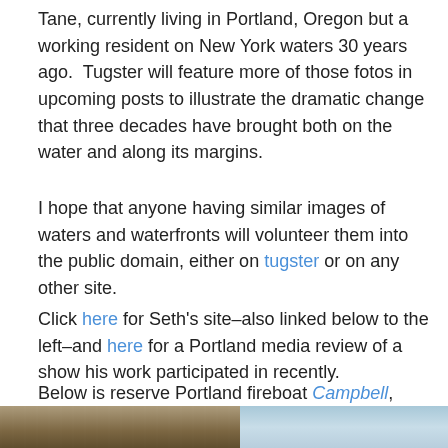Tane, currently living in Portland, Oregon but a working resident on New York waters 30 years ago.  Tugster will feature more of those fotos in upcoming posts to illustrate the dramatic change that three decades have brought both on the water and along its margins.
I hope that anyone having similar images of waters and waterfronts will volunteer them into the public domain, either on tugster or on any other site.
Click here for Seth's site–also linked below to the left–and here for a Portland media review of a show his work participated in recently.
Below is reserve Portland fireboat Campbell, launched 1927.
[Figure (photo): Bottom strip showing part of a photograph: left portion shows a boat/vessel in brownish tones, right portion shows blue water/sky]